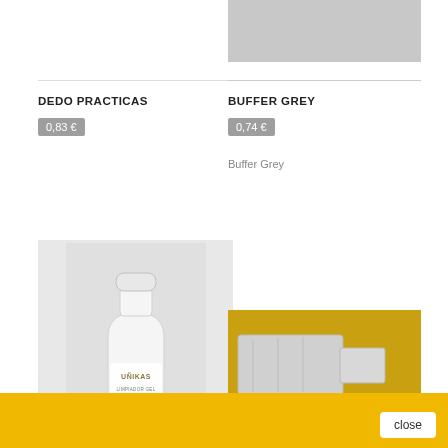[Figure (photo): Grey/silver swatch or product image at top right]
DEDO PRACTICAS
0,83 €
BUFFER GREY
0,74 €
Buffer Grey
[Figure (photo): White bottle of UÑIKAS LIMPIADOR GEL on light grey background]
[Figure (photo): Grey foil/packaging strips on yellow/gold background]
close